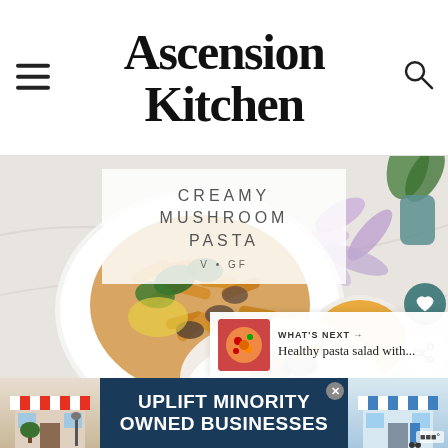Ascension Kitchen
[Figure (photo): Food photography showing creamy mushroom pasta on a white plate with wilted spinach and nutritional yeast, served on a marble surface with a small bowl of sauce and purple flowers in the background. Title overlay reads 'CREAMY MUSHROOM PASTA V • GF'. Action buttons for save (heart) and share visible on right side. 'WHAT'S NEXT → Healthy pasta salad with...' thumbnail preview in bottom right.]
[Figure (photo): Advertisement banner: 'UPLIFT MINORITY OWNED BUSINESSES' in white bold text on dark blue background, flanked by illustrated storefront graphics on left and right side.]